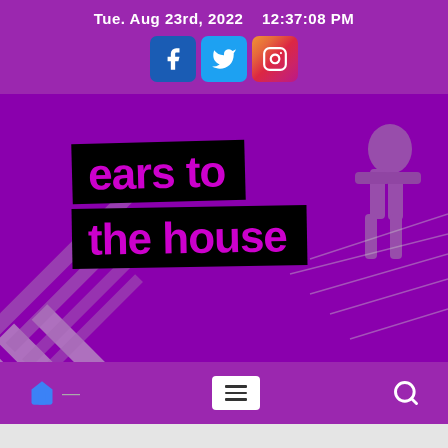Tue. Aug 23rd, 2022   12:37:08 PM
[Figure (screenshot): Social media icons: Facebook (blue square), Twitter (light blue square), Instagram (gradient square)]
[Figure (photo): Hero banner image with purple-tinted street art background. Black rectangular banners with large purple text reading 'ears to the house'. Diagonal white stripes visible at bottom left, graffiti figure at top right.]
ears to the house
[Figure (infographic): Navigation bar with home icon (blue), horizontal menu icon (white background), and search icon (white) on purple background]
[Figure (other): Purple scroll-to-top button with upward chevron arrow, positioned bottom right over gray background area]